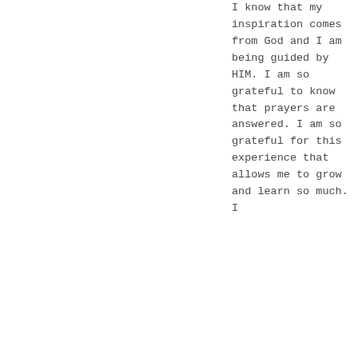I know that my inspiration comes from God and I am being guided by HIM. I am so grateful to know that prayers are answered. I am so grateful for this experience that allows me to grow and learn so much. I